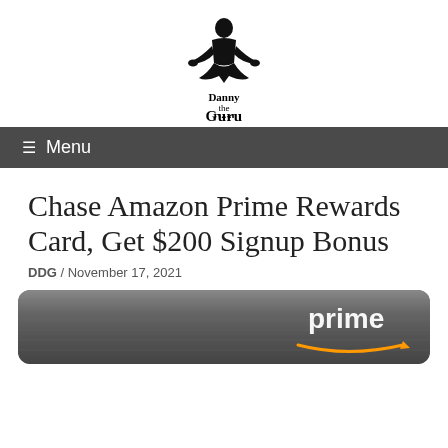Danny the Deal Guru
≡ Menu
Chase Amazon Prime Rewards Card, Get $200 Signup Bonus
DDG / November 17, 2021
[Figure (photo): Amazon Prime credit card shown in dark metallic style with 'prime' text and Amazon arrow logo]